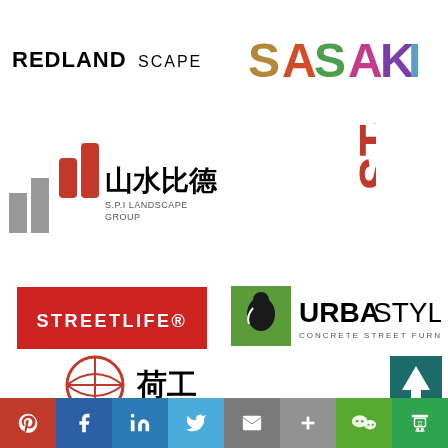[Figure (logo): REDLANDSCAPE logo in black uppercase text]
[Figure (logo): SASAKI logo in multicolor bold letters]
[Figure (logo): SPI Landscape Group logo with red and grey bar chart icons and Chinese characters]
[Figure (logo): STOSS logo in red vertical text]
[Figure (logo): STREETLIFE registered trademark logo, white text on red background]
[Figure (logo): URBASTYLE Concrete Street Furniture logo with green square and bird icon]
[Figure (logo): Partial logo with globe/grid icon and Chinese characters at bottom]
[Figure (logo): Teal square with white up-arrow icon at bottom right]
[Figure (infographic): Social media sharing bar with Pinterest, Facebook, LinkedIn, Twitter, Email, More, WeChat, Douban buttons]